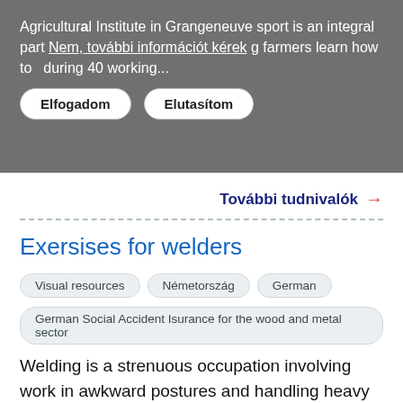Agricultural Institute in Grangeneuve sport is an integral part of the training. The young farmers learn how to ... during 40 working...
Nem, további információt kérek
Elfogadom  Elutasítom
További tudnivalók →
Exersises for welders
Visual resources
Németország
German
German Social Accident Isurance for the wood and metal sector
Welding is a strenuous occupation involving work in awkward postures and handling heavy equipment. This can lead to muscular strain and painful tension. The following exercises have been specially developed for welders exposed to ergonomic risks. Regular training can help to stimulate and improve